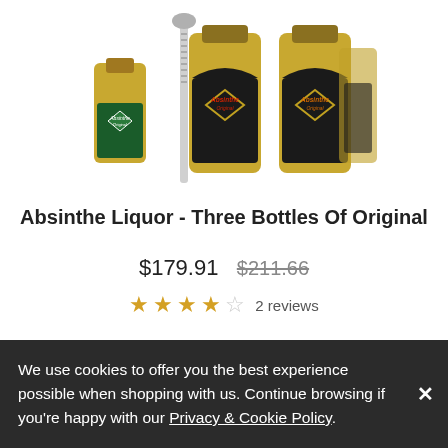[Figure (photo): Four bottles of Absinthe Original liquor with a cocktail spoon/stirrer in the center. Two clear/green label bottles and two dark label bottles arranged together.]
Absinthe Liquor - Three Bottles Of Original
$179.91  $211.66
★★★★☆  2 reviews
Three large 700ml bottles of our Original Absinthe available in one special gift set This Absinthe Original set is perfect for absinthe drinkers, fueled parties, stag
We use cookies to offer you the best experience possible when shopping with us. Continue browsing if you're happy with our Privacy & Cookie Policy.